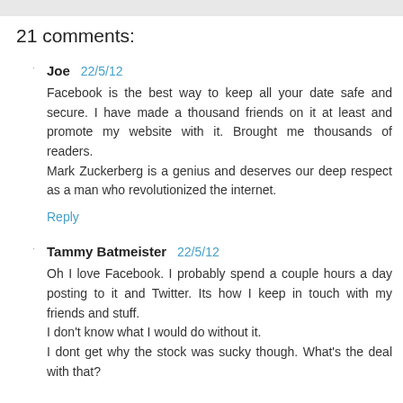21 comments:
Joe 22/5/12
Facebook is the best way to keep all your date safe and secure. I have made a thousand friends on it at least and promote my website with it. Brought me thousands of readers.
Mark Zuckerberg is a genius and deserves our deep respect as a man who revolutionized the internet.
Reply
Tammy Batmeister 22/5/12
Oh I love Facebook. I probably spend a couple hours a day posting to it and Twitter. Its how I keep in touch with my friends and stuff.
I don't know what I would do without it.
I dont get why the stock was sucky though. What's the deal with that?